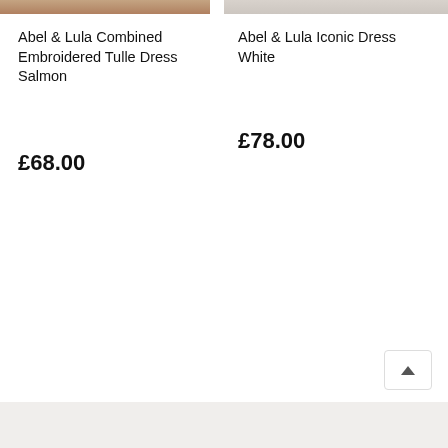[Figure (photo): Top portion of a product photo showing a dress on a model - salmon/coral colored tulle dress, cropped at top of page]
[Figure (photo): Top portion of a product photo showing a model in a white iconic dress, cropped at top of page]
Abel & Lula Combined Embroidered Tulle Dress Salmon
£68.00
Abel & Lula Iconic Dress White
£78.00
LOAD NEXT